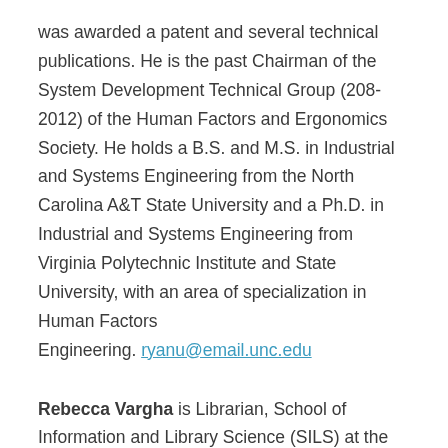was awarded a patent and several technical publications. He is the past Chairman of the System Development Technical Group (208-2012) of the Human Factors and Ergonomics Society. He holds a B.S. and M.S. in Industrial and Systems Engineering from the North Carolina A&T State University and a Ph.D. in Industrial and Systems Engineering from Virginia Polytechnic Institute and State University, with an area of specialization in Human Factors Engineering. ryanu@email.unc.edu
Rebecca Vargha is Librarian, School of Information and Library Science (SILS) at the University of North Carolina, Chapel Hill since 2001. Her responsibilities